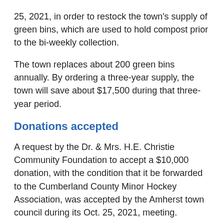25, 2021, in order to restock the town's supply of green bins, which are used to hold compost prior to the bi-weekly collection.
The town replaces about 200 green bins annually. By ordering a three-year supply, the town will save about $17,500 during that three-year period.
Donations accepted
A request by the Dr. & Mrs. H.E. Christie Community Foundation to accept a $10,000 donation, with the condition that it be forwarded to the Cumberland County Minor Hockey Association, was accepted by the Amherst town council during its Oct. 25, 2021, meeting.
A similar request from CIBC Wood Gundy, which asked council to accept a $20,550 donation, with the condition it be forwarded to the Amherst Little League Association, was also accepted by the council.
Provincial regulations prevent the two associations from receiving grants directly from the two organization because